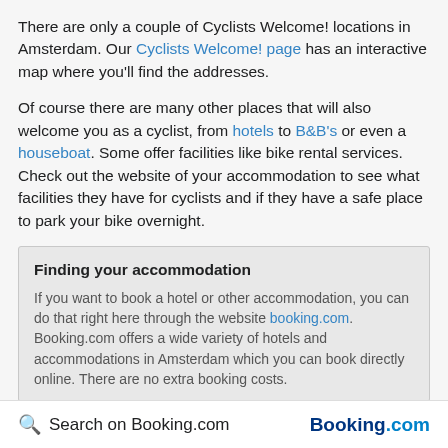There are only a couple of Cyclists Welcome! locations in Amsterdam. Our Cyclists Welcome! page has an interactive map where you'll find the addresses.
Of course there are many other places that will also welcome you as a cyclist, from hotels to B&B's or even a houseboat. Some offer facilities like bike rental services. Check out the website of your accommodation to see what facilities they have for cyclists and if they have a safe place to park your bike overnight.
Finding your accommodation
If you want to book a hotel or other accommodation, you can do that right here through the website booking.com. Booking.com offers a wide variety of hotels and accommodations in Amsterdam which you can book directly online. There are no extra booking costs.
Search on Booking.com